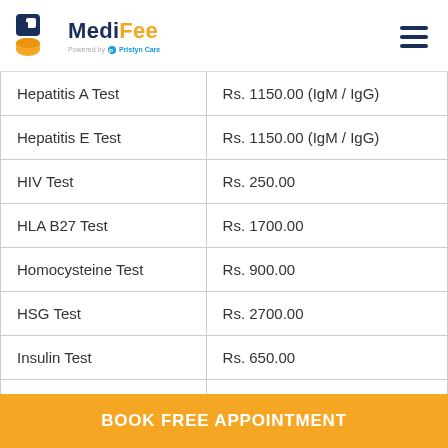MediFee - Powered by Pristyn Care
| Test Name | Price |
| --- | --- |
| Hepatitis A Test | Rs. 1150.00 (IgM / IgG) |
| Hepatitis E Test | Rs. 1150.00 (IgM / IgG) |
| HIV Test | Rs. 250.00 |
| HLA B27 Test | Rs. 1700.00 |
| Homocysteine Test | Rs. 900.00 |
| HSG Test | Rs. 2700.00 |
| Insulin Test | Rs. 650.00 |
| Iron Test | Rs. 450.00 (Iron Profile - Total Iron, TIBC, TS%) |
BOOK FREE APPOINTMENT